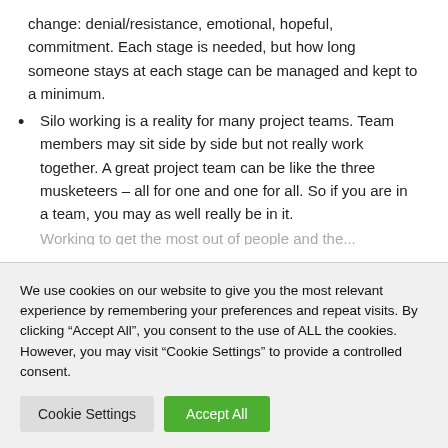change: denial/resistance, emotional, hopeful, commitment. Each stage is needed, but how long someone stays at each stage can be managed and kept to a minimum.
Silo working is a reality for many project teams. Team members may sit side by side but not really work together. A great project team can be like the three musketeers – all for one and one for all. So if you are in a team, you may as well really be in it.
We use cookies on our website to give you the most relevant experience by remembering your preferences and repeat visits. By clicking “Accept All”, you consent to the use of ALL the cookies. However, you may visit "Cookie Settings" to provide a controlled consent.